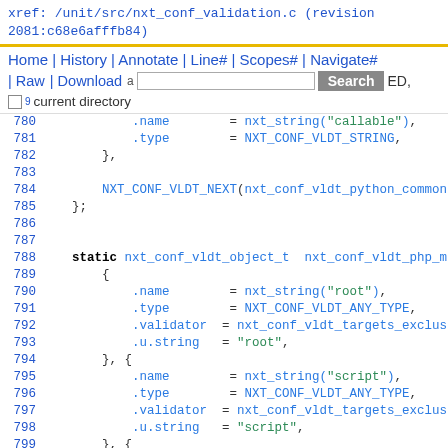xref: /unit/src/nxt_conf_validation.c (revision 2081:c68e6afffb84)
Home | History | Annotate | Line# | Scopes# | Navigate#
| Raw | Download  [Search button]  ED,
9 current directory
780  .name = nxt_string("callable"),
781  .type = NXT_CONF_VLDT_STRING,
782  },
783
784  NXT_CONF_VLDT_NEXT(nxt_conf_vldt_python_common
785  };
786
787
788  static nxt_conf_vldt_object_t nxt_conf_vldt_php_m
789  {
790  .name = nxt_string("root"),
791  .type = NXT_CONF_VLDT_ANY_TYPE,
792  .validator = nxt_conf_vldt_targets_exclus
793  .u.string = "root",
794  }, {
795  .name = nxt_string("script"),
796  .type = NXT_CONF_VLDT_ANY_TYPE,
797  .validator = nxt_conf_vldt_targets_exclus
798  .u.string = "script",
799  }, {
800  .name = nxt_string("index"),
801  .type = NXT_CONF_VLDT_ANY_TYPE,
802  .validator = nxt_conf_vldt_targets_exclus